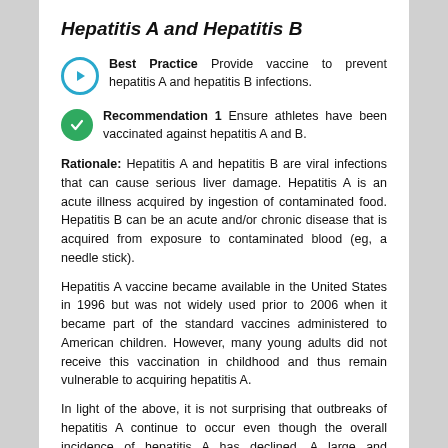Hepatitis A and Hepatitis B
Best Practice Provide vaccine to prevent hepatitis A and hepatitis B infections.
Recommendation 1 Ensure athletes have been vaccinated against hepatitis A and B.
Rationale: Hepatitis A and hepatitis B are viral infections that can cause serious liver damage. Hepatitis A is an acute illness acquired by ingestion of contaminated food. Hepatitis B can be an acute and/or chronic disease that is acquired from exposure to contaminated blood (eg, a needle stick).
Hepatitis A vaccine became available in the United States in 1996 but was not widely used prior to 2006 when it became part of the standard vaccines administered to American children. However, many young adults did not receive this vaccination in childhood and thus remain vulnerable to acquiring hepatitis A.
In light of the above, it is not surprising that outbreaks of hepatitis A continue to occur even though the overall incidence of hepatitis A has declined. A large and persistent outbreak of hepatitis A began in San Diego in 2015 and continued into 2017.7 Cases